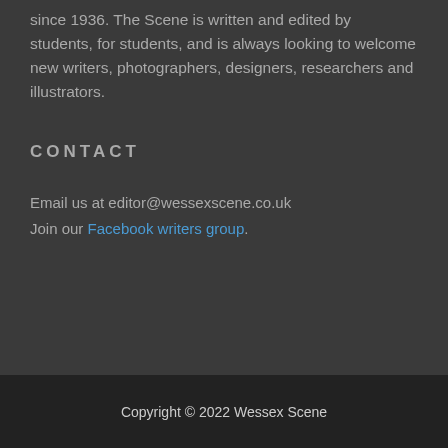since 1936. The Scene is written and edited by students, for students, and is always looking to welcome new writers, photographers, designers, researchers and illustrators.
CONTACT
Email us at editor@wessexscene.co.uk
Join our Facebook writers group.
Copyright © 2022 Wessex Scene